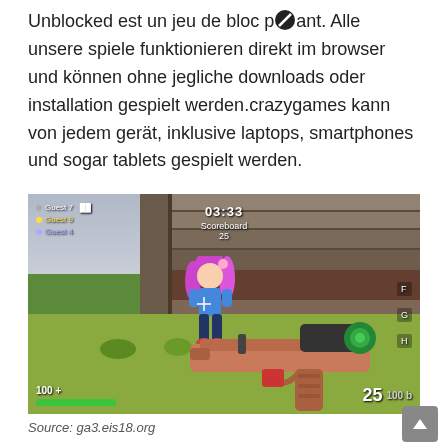Unblocked est un jeu de bloc p☒ant. Alle unsere spiele funktionieren direkt im browser und können ohne jegliche downloads oder installation gespielt werden.crazygames kann von jedem gerät, inklusive laptops, smartphones und sogar tablets gespielt werden.
[Figure (screenshot): Screenshot of a multiplayer first-person shooter game with a pink-haired anime character, stone walls, green ground, weapon in foreground, HUD showing timer 03:33 and ammo 25.]
Source: ga3.eis18.org
Enter the world of repuls, a mul☒ayer fps game with various